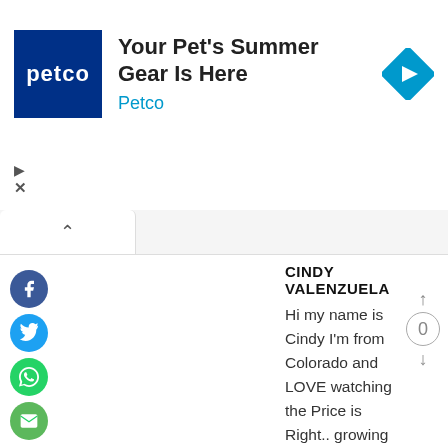[Figure (screenshot): Petco advertisement banner with blue logo and 'Your Pet's Summer Gear Is Here' headline]
Your Pet's Summer Gear Is Here
Petco
CINDY VALENZUELA
Hi my name is Cindy I'm from Colorado and LOVE watching the Price is Right.. growing up I would watch the show playing and guessing the prices… I learned to be a pretty good player even if it's from my home.. I to get so excited when I get the Price right.. I sometime imagine what it would be if I to were ever on the show… My mother also loved watching